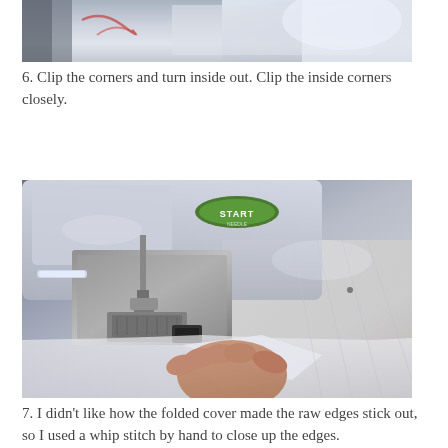[Figure (photo): Close-up photo of fabric being clipped at the corners, showing white fabric with a red design, partially cut/clipped.]
6. Clip the corners and turn inside out.  Clip the inside corners closely.
[Figure (photo): Photo of a sewing machine with a green START button, with white fabric being sewn, and a hand guiding the fabric through the machine.]
7. I didn't like how the folded cover made the raw edges stick out, so I used a whip stitch by hand to close up the edges.